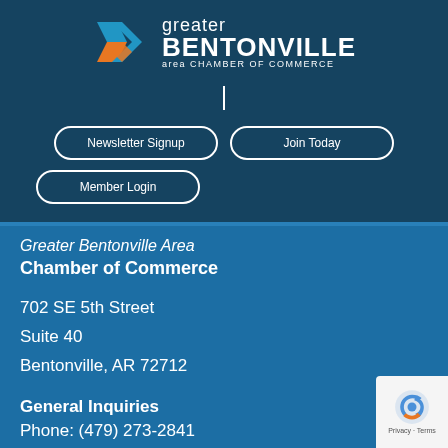[Figure (logo): Greater Bentonville Area Chamber of Commerce logo with geometric arrow/chevron icon in blue and orange, with text 'greater BENTONVILLE area CHAMBER OF COMMERCE']
[Figure (other): Hamburger menu icon (vertical bar/bracket)]
Newsletter Signup
Join Today
Member Login
Greater Bentonville Area
Chamber of Commerce
702 SE 5th Street
Suite 40
Bentonville, AR 72712
General Inquiries
Phone: (479) 273-2841